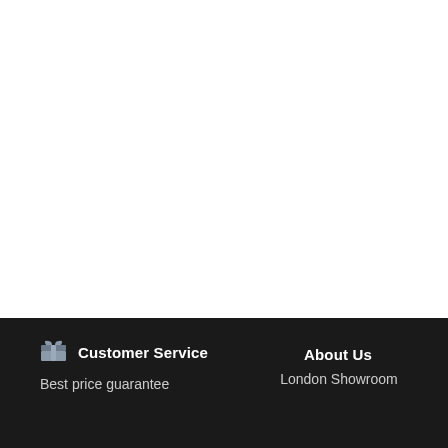Customer Service | Best price guarantee | About Us | London Showroom